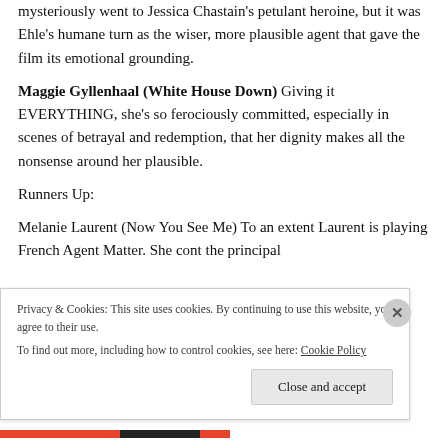mysteriously went to Jessica Chastain's petulant heroine, but it was Ehle's humane turn as the wiser, more plausible agent that gave the film its emotional grounding.
Maggie Gyllenhaal (White House Down) Giving it EVERYTHING, she's so ferociously committed, especially in scenes of betrayal and redemption, that her dignity makes all the nonsense around her plausible.
Runners Up:
Melanie Laurent (Now You See Me) To an extent Laurent is playing French Agent Matter. She …
Privacy & Cookies: This site uses cookies. By continuing to use this website, you agree to their use.
To find out more, including how to control cookies, see here: Cookie Policy